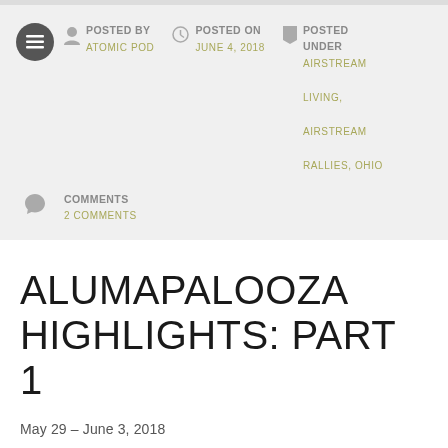POSTED BY ATOMIC POD | POSTED ON JUNE 4, 2018 | POSTED UNDER AIRSTREAM LIVING, AIRSTREAM RALLIES, OHIO
COMMENTS
2 COMMENTS
ALUMAPALOOZA HIGHLIGHTS: PART 1
May 29 – June 3, 2018